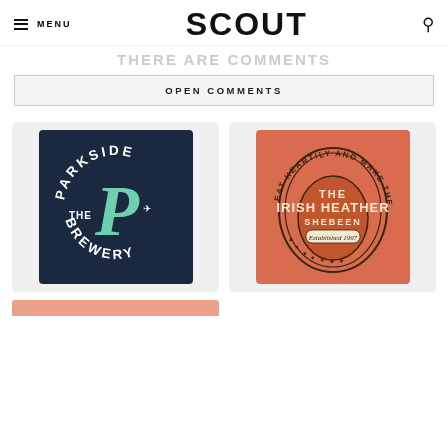MENU | SCOUT
THERE ARE COMMENTS
OPEN COMMENTS
[Figure (logo): The Parkside Brewery logo — dark navy circular badge with white arched text reading THE PARKSIDE BREWERY and a large mint/teal decorative P in the center with a small airplane icon]
[Figure (logo): The Irish Heather Shebeen logo — salmon/coral orange square background with an oval label design reading THE IRISH HEATHER SHEBEEN Established 1997, surrounded by text EAT HEARTILY AND MAKE THE HOUSE PROUD in an arc]